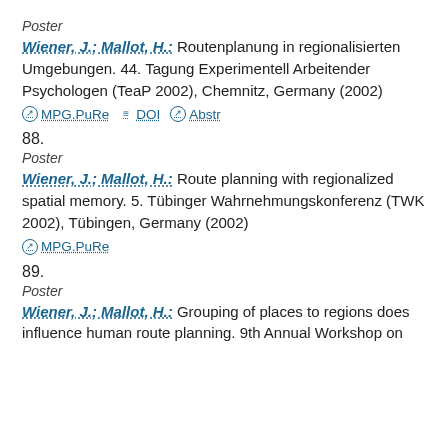Poster
Wiener, J.; Mallot, H.: Routenplanung in regionalisierten Umgebungen. 44. Tagung Experimentell Arbeitender Psychologen (TeaP 2002), Chemnitz, Germany (2002)
MPG.PuRe   DOI   Abstr
88.
Poster
Wiener, J.; Mallot, H.: Route planning with regionalized spatial memory. 5. Tübinger Wahrnehmungskonferenz (TWK 2002), Tübingen, Germany (2002)
MPG.PuRe
89.
Poster
Wiener, J.; Mallot, H.: Grouping of places to regions does influence human route planning. 9th Annual Workshop on